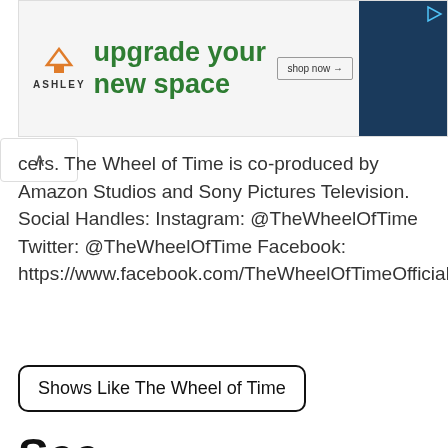[Figure (other): Ashley Furniture advertisement banner with logo, 'upgrade your new space' headline in green, shop now button, and sofa image on dark blue background]
cers. The Wheel of Time is co-produced by Amazon Studios and Sony Pictures Television. Social Handles: Instagram: @TheWheelOfTime Twitter: @TheWheelOfTime Facebook: https://www.facebook.com/TheWheelOfTimeOfficial
Shows Like The Wheel of Time
See
Apple TV+ • 2019 • IMDb: 7.6